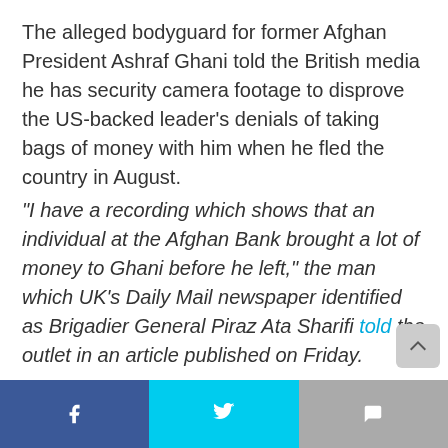The alleged bodyguard for former Afghan President Ashraf Ghani told the British media he has security camera footage to disprove the US-backed leader's denials of taking bags of money with him when he fled the country in August. "I have a recording which shows that an individual at the Afghan Bank brought a lot of money to Ghani before he left," the man which UK's Daily Mail newspaper identified as Brigadier General Piraz Ata Sharifi told the outlet in an article published on Friday. "Hundreds of millions, perhaps billions of dollars. There were many big bags, and they were heavy. It was not rice."